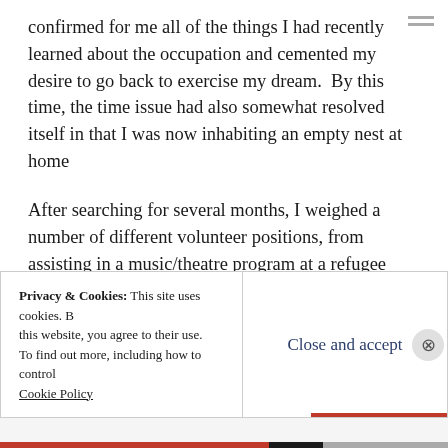confirmed for me all of the things I had recently learned about the occupation and cemented my desire to go back to exercise my dream.  By this time, the time issue had also somewhat resolved itself in that I was now inhabiting an empty nest at home
After searching for several months, I weighed a number of different volunteer positions, from assisting in a music/theatre program at a refugee camp, to being part of a peace-keeping team to
Privacy & Cookies: This site uses cookies. By continuing to use this website, you agree to their use. To find out more, including how to control cookies, see here: Cookie Policy
Close and accept